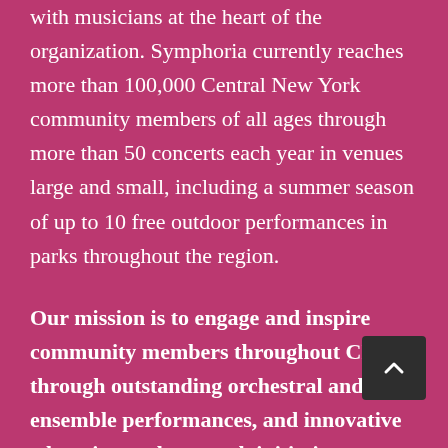with musicians at the heart of the organization. Symphoria currently reaches more than 100,000 Central New York community members of all ages through more than 50 concerts each year in venues large and small, including a summer season of up to 10 free outdoor performances in parks throughout the region.
Our mission is to engage and inspire community members throughout CNY through outstanding orchestral and ensemble performances, and innovative education and outreach initiatives.
MARKETING, including managing social